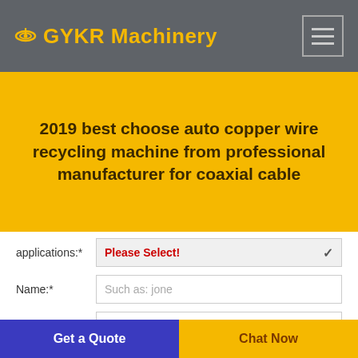GYKR Machinery
2019 best choose auto copper wire recycling machine from professional manufacturer for coaxial cable
applications:* Please Select!
Name:* Such as: jone
Email:* Such as: inquiry@keruimachinery.com
Tel:* Such as: +86 15828020256
Get a Quote | Chat Now